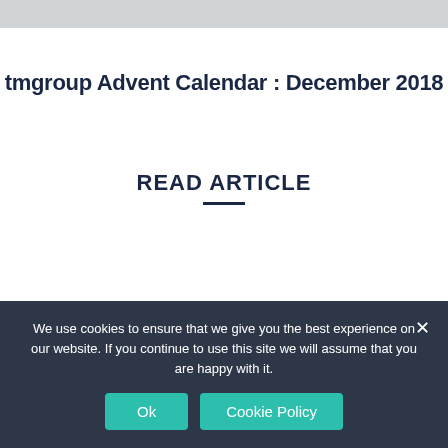[Figure (other): Gray banner/image placeholder at top of page]
tmgroup Advent Calendar : December 2018
READ ARTICLE
VIEW ALL RESOURCES
We use cookies to ensure that we give you the best experience on our website. If you continue to use this site we will assume that you are happy with it.
Ok
Cookie Policy